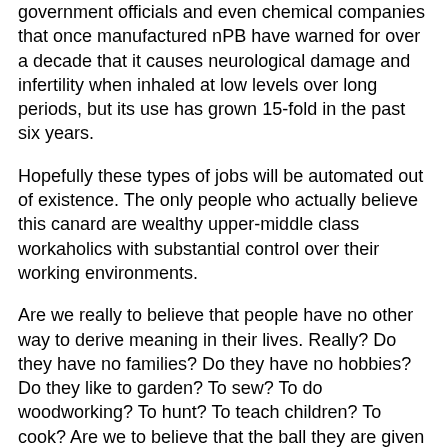government officials and even chemical companies that once manufactured nPB have warned for over a decade that it causes neurological damage and infertility when inhaled at low levels over long periods, but its use has grown 15-fold in the past six years.
Hopefully these types of jobs will be automated out of existence. The only people who actually believe this canard are wealthy upper-middle class workaholics with substantial control over their working environments.
Are we really to believe that people have no other way to derive meaning in their lives. Really? Do they have no families? Do they have no hobbies? Do they like to garden? To sew? To do woodworking? To hunt? To teach children? To cook? Are we to believe that the ball they are given to balance on the tip of their nose for a mackerel is the only thing that allows them to  participate in society as a fully functional human being? How sad is that?
2.) It is morally objectionable. . People will not lift even a finger to help themselves without the whip and the lash of